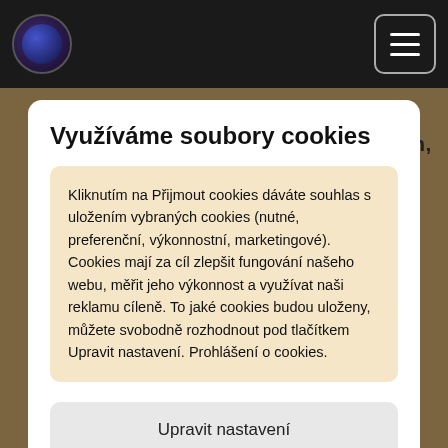[Figure (screenshot): Navigation bar with circular logo on left and hamburger menu button on right, dark background]
01 I See You   [3'33] (d. allen, O. Allen, D. Sturt)
Využíváme soubory cookies
Kliknutím na Přijmout cookies dáváte souhlas s uložením vybraných cookies (nutné, preferenční, výkonnostní, marketingové). Cookies mají za cíl zlepšit fungování našeho webu, měřit jeho výkonnost a využívat naši reklamu cíleně. To jaké cookies budou uloženy, můžete svobodně rozhodnout pod tlačítkem Upravit nastavení. Prohlášení o cookies.
Upravit nastavení
Přijmout cookies
11 Thank You   [10'35] (d. allen)